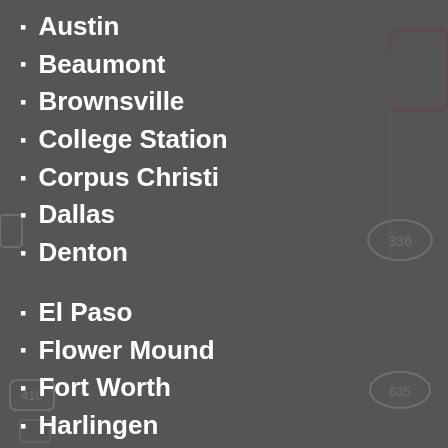Austin
Beaumont
Brownsville
College Station
Corpus Christi
Dallas
Denton
El Paso
Flower Mound
Fort Worth
Harlingen
Houston
Huntsville
Killeen
Laredo
League City